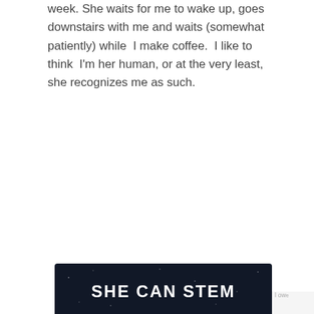week. She waits for me to wake up, goes downstairs with me and waits (somewhat patiently) while I make coffee. I like to think I'm her human, or at the very least, she recognizes me as such.
[Figure (infographic): Card with header 'Early Signs of Autism in Children' and a dark green infographic image showing text 'An MRI or CAT scan can also be helpful in diagnosing autism.' with a brain scan icon on the right side.]
[Figure (infographic): Partial dark banner at the bottom reading 'SHE CAN STEM' in bold white text on a dark background.]